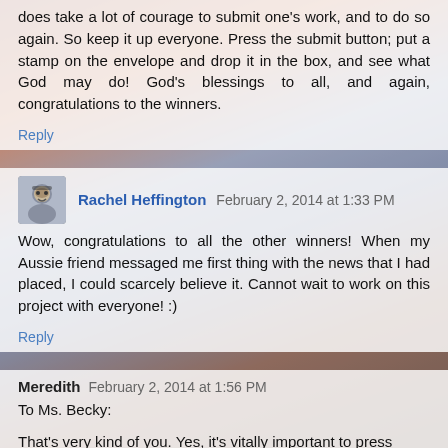does take a lot of courage to submit one's work, and to do so again. So keep it up everyone. Press the submit button; put a stamp on the envelope and drop it in the box, and see what God may do! God's blessings to all, and again, congratulations to the winners.
Reply
Rachel Heffington February 2, 2014 at 1:33 PM
Wow, congratulations to all the other winners! When my Aussie friend messaged me first thing with the news that I had placed, I could scarcely believe it. Cannot wait to work on this project with everyone! :)
Reply
Meredith February 2, 2014 at 1:56 PM
To Ms. Becky:
That's very kind of you. Yes, it's vitally important to press